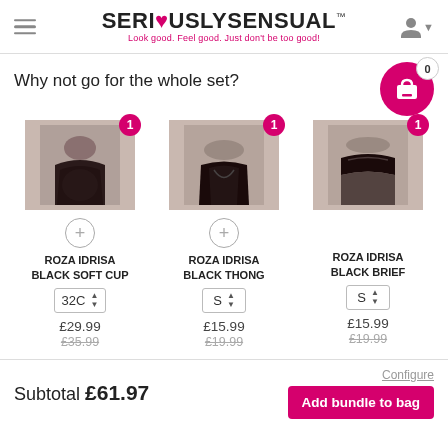SERIOUSLY SENSUAL™ — Look good. Feel good. Just don't be too good!
Why not go for the whole set?
[Figure (photo): Product image of Roza Idrisa Black Soft Cup bra, woman wearing black lingerie]
ROZA IDRISA BLACK SOFT CUP
Size: 32C
£29.99 / was £35.99
[Figure (photo): Product image of Roza Idrisa Black Thong lingerie]
ROZA IDRISA BLACK THONG
Size: S
£15.99 / was £19.99
[Figure (photo): Product image of Roza Idrisa Black Brief lingerie]
ROZA IDRISA BLACK BRIEF
Size: S
£15.99 / was £19.99
Subtotal £61.97
Configure
Add bundle to bag